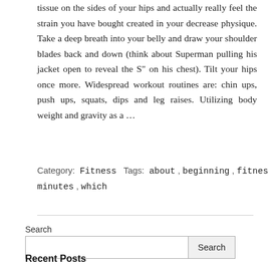tissue on the sides of your hips and actually really feel the strain you have bought created in your decrease physique. Take a deep breath into your belly and draw your shoulder blades back and down (think about Superman pulling his jacket open to reveal the S" on his chest). Tilt your hips once more. Widespread workout routines are: chin ups, push ups, squats, dips and leg raises. Utilizing body weight and gravity as a …
Category: Fitness Tags: about, beginning, fitness, killer, minutes, which
Search
Recent Posts
10 Most Amazing Nutrition Killer Changing How We Start To See The